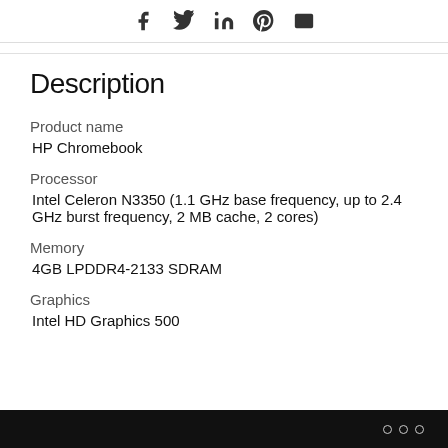Social share icons: Facebook, Twitter, LinkedIn, Pinterest, Email
Description
Product name
HP Chromebook
Processor
Intel Celeron N3350 (1.1 GHz base frequency, up to 2.4 GHz burst frequency, 2 MB cache, 2 cores)
Memory
4GB LPDDR4-2133 SDRAM
Graphics
Intel HD Graphics 500
○ ○ ○